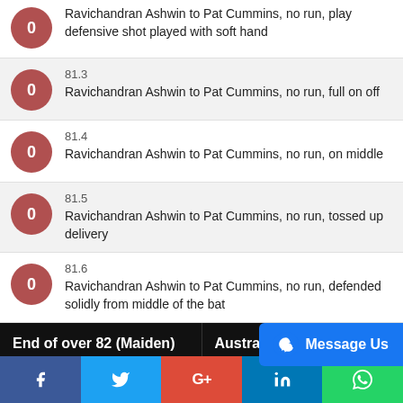0 | Ravichandran Ashwin to Pat Cummins, no run, play defensive shot played with soft hand
81.3 | 0 | Ravichandran Ashwin to Pat Cummins, no run, full on off
81.4 | 0 | Ravichandran Ashwin to Pat Cummins, no run, on middle
81.5 | 0 | Ravichandran Ashwin to Pat Cummins, no run, tossed up delivery
81.6 | 0 | Ravichandran Ashwin to Pat Cummins, no run, defended solidly from middle of the bat
End of over 82 (Maiden)
Australia 185
Tim Paine 39 (67)
Pat Cummins 5 (33)
Ravichandran Ashwin 34-8-72-2
Ishant Sharma 15-4-38-1
f | Twitter | G+ | in | WhatsApp